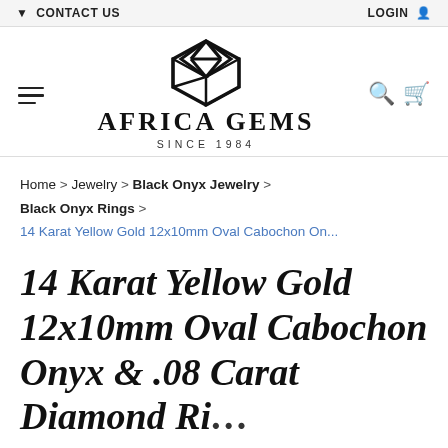▼ CONTACT US   LOGIN
[Figure (logo): Africa Gems diamond logo mark SVG with text AFRICA GEMS SINCE 1984]
Home > Jewelry > Black Onyx Jewelry > Black Onyx Rings > 14 Karat Yellow Gold 12x10mm Oval Cabochon On...
14 Karat Yellow Gold 12x10mm Oval Cabochon Onyx & .08 Carat Diamond Ri...